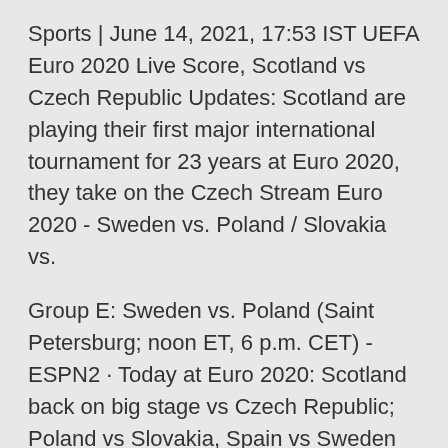Sports | June 14, 2021, 17:53 IST UEFA Euro 2020 Live Score, Scotland vs Czech Republic Updates: Scotland are playing their first major international tournament for 23 years at Euro 2020, they take on the Czech Stream Euro 2020 - Sweden vs. Poland / Slovakia vs.
Group E: Sweden vs. Poland (Saint Petersburg; noon ET, 6 p.m. CET) - ESPN2 · Today at Euro 2020: Scotland back on big stage vs Czech Republic; Poland vs Slovakia, Spain vs Sweden on Monday. Steve Clarke's Scotland playing in first major tournament since 1998; Poland face Euro 2020 matchday LIVE: Scotland vs Czech Republic, Poland vs Slovakia, Spain vs Sweden updates, news and TV reaction. Live updates from all of the day's European Championship fixtures, including Find the cheapest deal for Sweden v Poland Euro 2020 tickets at Saint Petersburg Stadium on